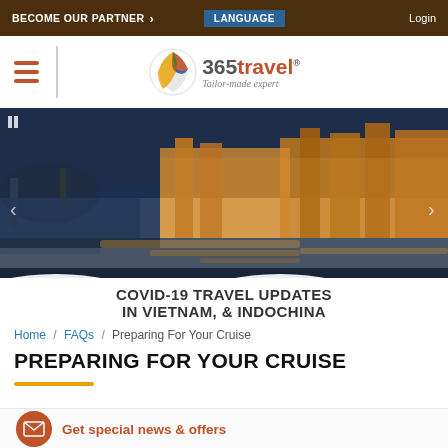BECOME OUR PARTNER > | LANGUAGE | Login
[Figure (logo): 365travel Tailor-made expert logo with colorful circular icon]
[Figure (photo): Night photo of Hoi An ancient town waterfront with colorful lights reflecting on the river and boats docked]
COVID-19 TRAVEL UPDATES IN VIETNAM, & INDOCHINA
Home / FAQs / Preparing For Your Cruise
PREPARING FOR YOUR CRUISE
Get special news & offers